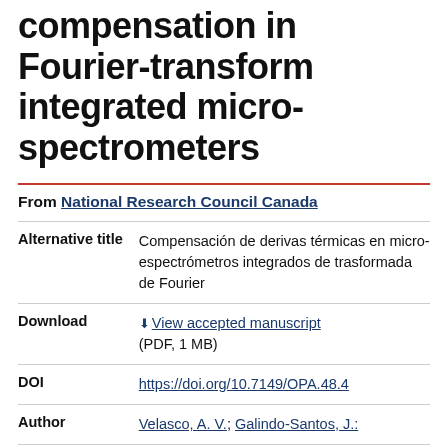compensation in Fourier-transform integrated micro-spectrometers
From National Research Council Canada
| Field | Value |
| --- | --- |
| Alternative title | Compensación de derivas térmicas en micro-espectrómetros integrados de trasformada de Fourier |
| Download | View accepted manuscript (PDF, 1 MB) |
| DOI | https://doi.org/10.7149/OPA.48.4... |
| Author | Velasco, A. V.; Galindo-Santos, J.: |